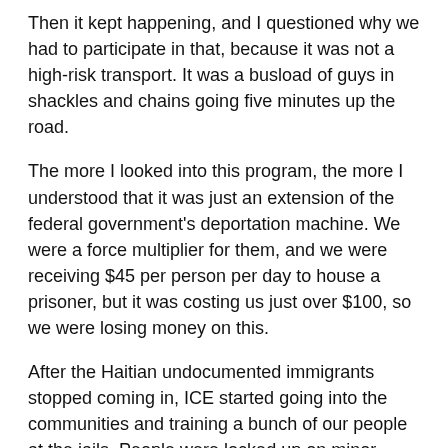Then it kept happening, and I questioned why we had to participate in that, because it was not a high-risk transport. It was a busload of guys in shackles and chains going five minutes up the road.
The more I looked into this program, the more I understood that it was just an extension of the federal government's deportation machine. We were a force multiplier for them, and we were receiving $45 per person per day to house a prisoner, but it was costing us just over $100, so we were losing money on this.
After the Haitian undocumented immigrants stopped coming in, ICE started going into the communities and training a bunch of our people at the jails. People were locked up on minor offenses, paying their fines to get out, found to be undocumented, and were deported. We were putting ICE detention holds on them and ripping people out of our community.